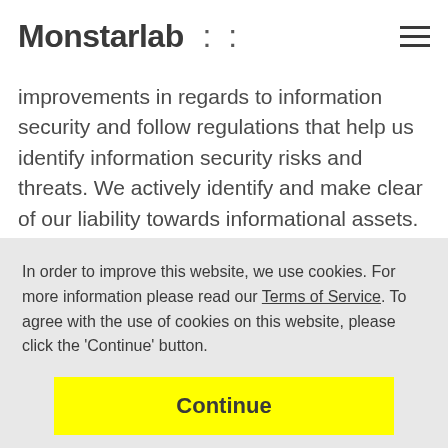Monstarlab :: ☰
improvements in regards to information security and follow regulations that help us identify information security risks and threats. We actively identify and make clear of our liability towards informational assets. Here at Monstarlab, informational assets are stored with the utmost care.
In order to improve this website, we use cookies. For more information please read our Terms of Service. To agree with the use of cookies on this website, please click the 'Continue' button.
Continue